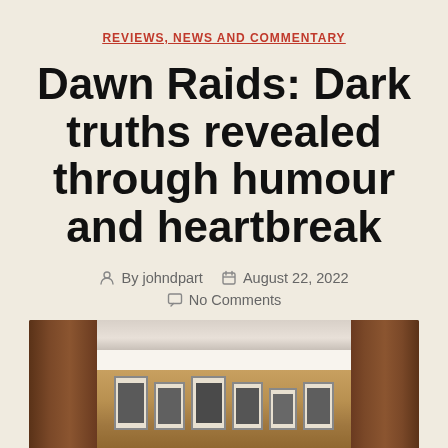REVIEWS, NEWS AND COMMENTARY
Dawn Raids: Dark truths revealed through humour and heartbreak
By johndpart   August 22, 2022   No Comments
[Figure (photo): Interior photograph showing wooden paneling framing a doorway or alcove with a shelf bearing several framed photographs/portraits arranged in a row]